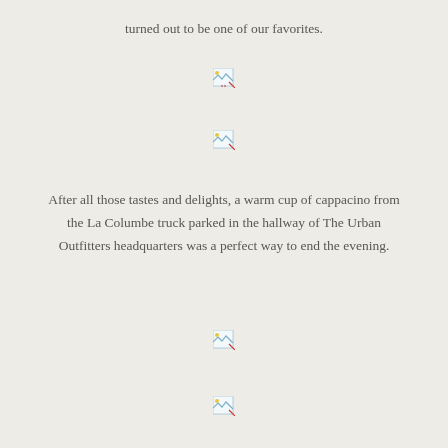turned out to be one of our favorites.
[Figure (photo): Broken image placeholder 1]
[Figure (photo): Broken image placeholder 2]
After all those tastes and delights, a warm cup of cappacino from the La Columbe truck parked in the hallway of The Urban Outfitters headquarters was a perfect way to end the evening.
[Figure (photo): Broken image placeholder 3]
[Figure (photo): Broken image placeholder 4]